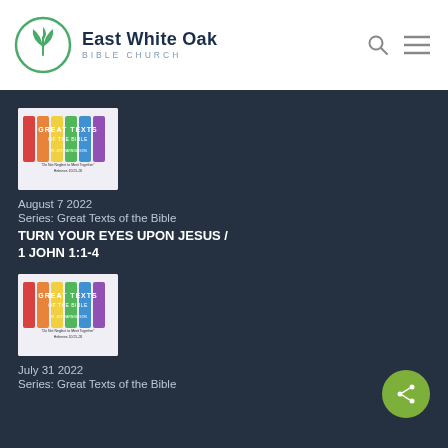East White Oak BIBLE CHURCH
[Figure (photo): Great Texts of the Bible sermon series cover image with colorful vertical bars]
August 7 2022
Series: Great Texts of the Bible
TURN YOUR EYES UPON JESUS / 1 JOHN 1:1-4
[Figure (photo): Great Texts of the Bible sermon series cover image with colorful vertical bars]
July 31 2022
Series: Great Texts of the Bible